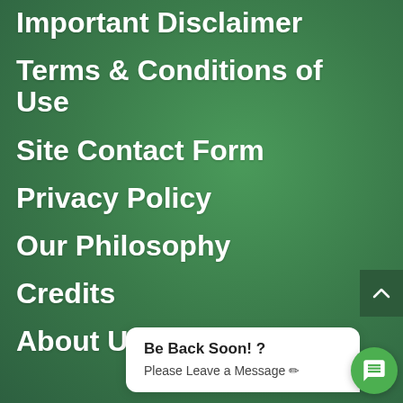Important Disclaimer
Terms & Conditions of Use
Site Contact Form
Privacy Policy
Our Philosophy
Credits
About U
Be Back Soon! ?
Please Leave a Message ✏